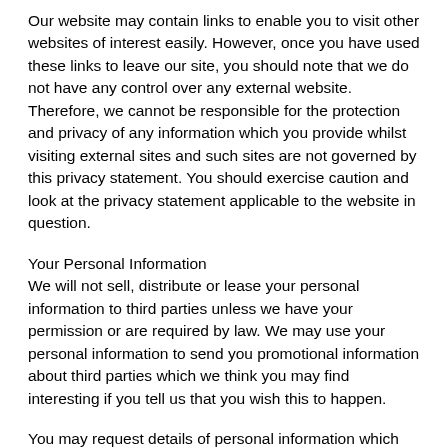Our website may contain links to enable you to visit other websites of interest easily. However, once you have used these links to leave our site, you should note that we do not have any control over any external website. Therefore, we cannot be responsible for the protection and privacy of any information which you provide whilst visiting external sites and such sites are not governed by this privacy statement. You should exercise caution and look at the privacy statement applicable to the website in question.
Your Personal Information
We will not sell, distribute or lease your personal information to third parties unless we have your permission or are required by law. We may use your personal information to send you promotional information about third parties which we think you may find interesting if you tell us that you wish this to happen.
You may request details of personal information which we hold about you under the Data Protection Act 1998. A small fee will be payable. If you would like a copy of the information held on you please contact us here.